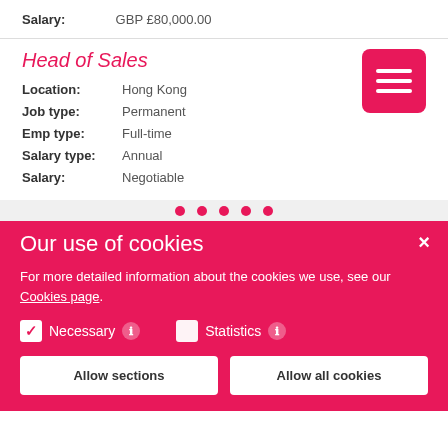Salary: GBP £80,000.00
Head of Sales
Location: Hong Kong
Job type: Permanent
Emp type: Full-time
Salary type: Annual
Salary: Negotiable
Our use of cookies
For more detailed information about the cookies we use, see our Cookies page.
Necessary  Statistics
Allow sections    Allow all cookies